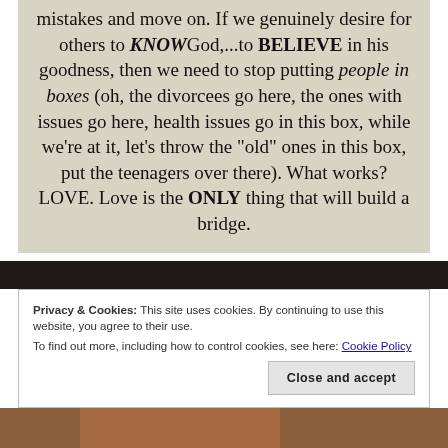mistakes and move on. If we genuinely desire for others to KNOW God,...to BELIEVE in his goodness, then we need to stop putting people in boxes (oh, the divorcees go here, the ones with issues go here, health issues go in this box, while we're at it, let's throw the "old" ones in this box, put the teenagers over there). What works? LOVE. Love is the ONLY thing that will build a bridge.
[Figure (photo): Dark photo strip at top of lower section]
Privacy & Cookies: This site uses cookies. By continuing to use this website, you agree to their use.
To find out more, including how to control cookies, see here: Cookie Policy
[Figure (photo): Photo strip at bottom showing person with reddish-brown hair]